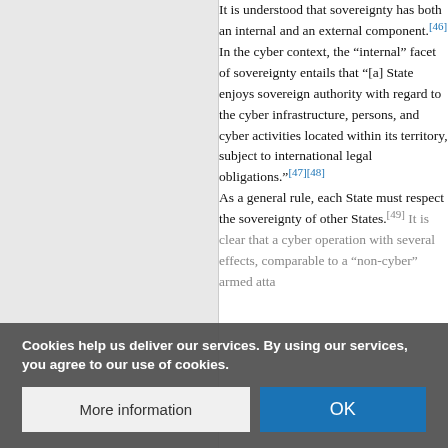It is understood that sovereignty has both an internal and an external component.[46] In the cyber context, the "internal" facet of sovereignty entails that "[a] State enjoys sovereign authority with regard to the cyber infrastructure, persons, and cyber activities located within its territory, subject to international legal obligations."[47][48]

As a general rule, each State must respect the sovereignty of other States.[49] It is clear that a cyber operation with several effects, comparable to a "non-cyber" armed atta...
Cookies help us deliver our services. By using our services, you agree to our use of cookies.